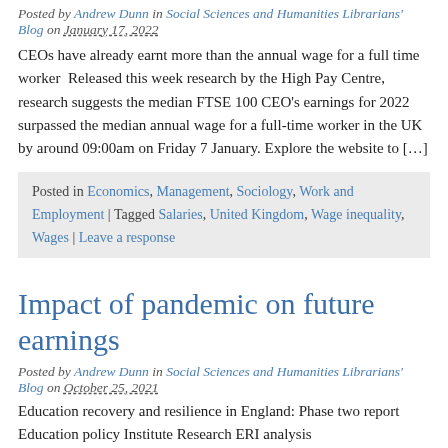Posted by Andrew Dunn in Social Sciences and Humanities Librarians' Blog on January 17, 2022
CEOs have already earnt more than the annual wage for a full time worker  Released this week research by the High Pay Centre, research suggests the median FTSE 100 CEO's earnings for 2022 surpassed the median annual wage for a full-time worker in the UK by around 09:00am on Friday 7 January. Explore the website to […]
Posted in Economics, Management, Sociology, Work and Employment | Tagged Salaries, United Kingdom, Wage inequality, Wages | Leave a response
Impact of pandemic on future earnings
Posted by Andrew Dunn in Social Sciences and Humanities Librarians' Blog on October 25, 2021
Education recovery and resilience in England: Phase two report Education policy Institute Research EPI analysis